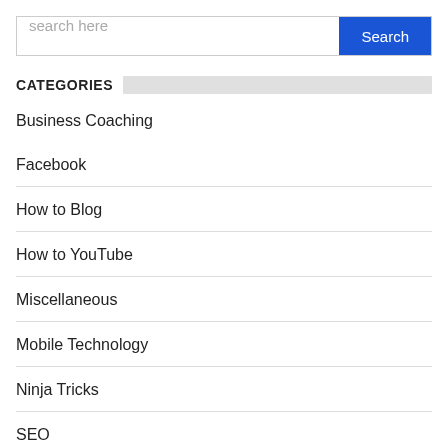search here
CATEGORIES
Business Coaching
Facebook
How to Blog
How to YouTube
Miscellaneous
Mobile Technology
Ninja Tricks
SEO